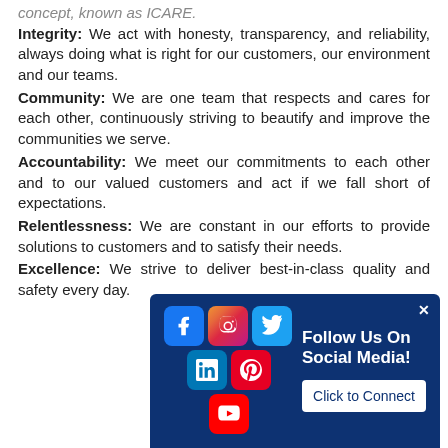concept, known as ICARE.
Integrity: We act with honesty, transparency, and reliability, always doing what is right for our customers, our environment and our teams.
Community: We are one team that respects and cares for each other, continuously striving to beautify and improve the communities we serve.
Accountability: We meet our commitments to each other and to our valued customers and act if we fall short of expectations.
Relentlessness: We are constant in our efforts to provide solutions to customers and to satisfy their needs.
Excellence: We strive to deliver best-in-class quality and safety every day.
[Figure (infographic): Social media follow popup with icons for Facebook, Instagram, Twitter, LinkedIn, Pinterest, YouTube, and a 'Click to Connect' button on a dark blue background.]